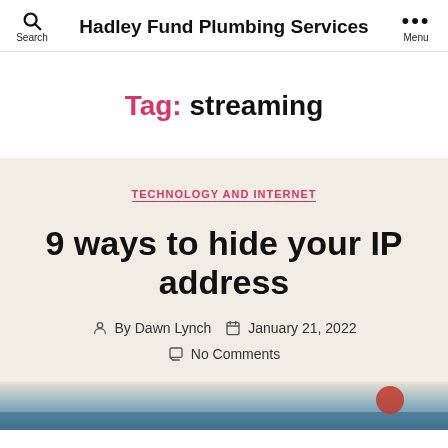Search | Hadley Fund Plumbing Services | Menu
Tag: streaming
TECHNOLOGY AND INTERNET
9 ways to hide your IP address
By Dawn Lynch  January 21, 2022  No Comments
[Figure (photo): Partial bottom image visible at the bottom of the page]